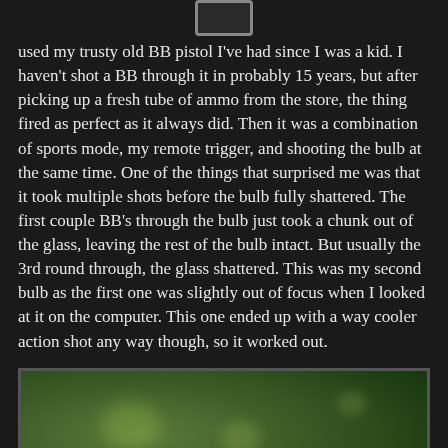[Figure (other): Small icon box at top center, resembling a UI element or navigation button]
used my trusty old BB pistol I've had since I was a kid.  I haven't shot a BB through it in probably 15 years, but after picking up a fresh tube of ammo from the store, the thing fired as perfect as it always did.  Then it was a combination of sports mode, my remote trigger, and shooting the bulb at the same time.  One of the things that surprised me was that it took multiple shots before the bulb fully shattered.  The first couple BB's through the bulb just took a chunk out of the glass, leaving the rest of the bulb intact.  But usually the 3rd round through, the glass shattered.  This was my second bulb as the first one was slightly out of focus when I looked at it on the computer.  This one ended up with a way cooler action shot any way though, so it worked out.
[Figure (photo): Blurred green bokeh background photo, appears to be foliage/leaves out of focus, with a dark green color palette]